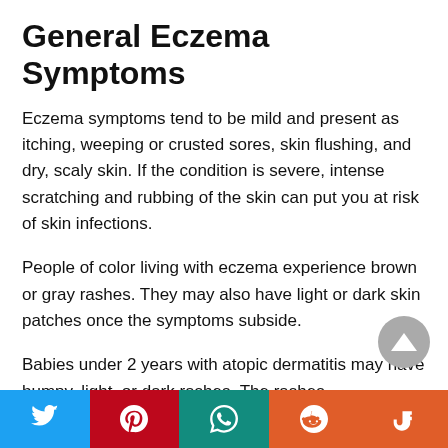General Eczema Symptoms
Eczema symptoms tend to be mild and present as itching, weeping or crusted sores, skin flushing, and dry, scaly skin. If the condition is severe, intense scratching and rubbing of the skin can put you at risk of skin infections.
People of color living with eczema experience brown or gray rashes. They may also have light or dark skin patches once the symptoms subside.
Babies under 2 years with atopic dermatitis may have bumpy, light, or dark rashes. The rashes